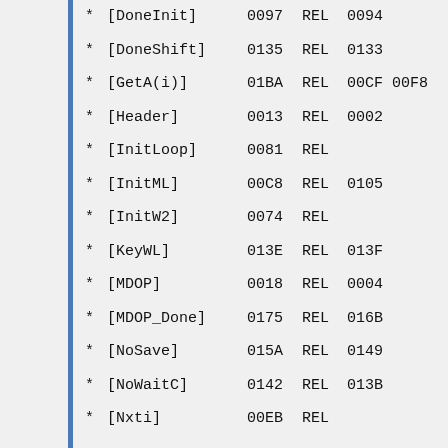* [DoneInit]    0097    REL    0094
* [DoneShift]   0135    REL    0133
* [GetA(i)]     01BA    REL    00CF 00F8
* [Header]      0013    REL    0002
* [InitLoop]    0081    REL
* [InitML]      00C8    REL    0105
* [InitW2]      0074    REL
* [KeyWL]       013E    REL    013F
* [MDOP]        0018    REL    0004
* [MDOP_Done]   0175    REL    016B
* [NoSave]      015A    REL    0149
* [NoWaitC]     0142    REL    013B
* [Nxti]        00EB    REL